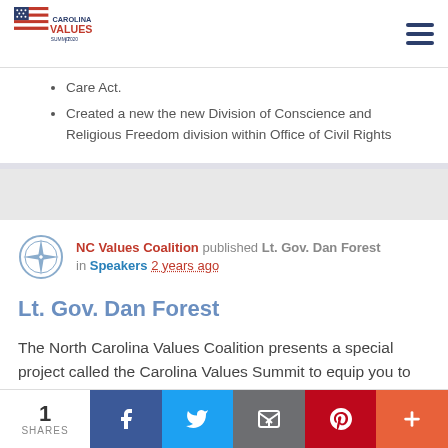Carolina Values Summit 2020
Care Act.
Created a new the new Division of Conscience and Religious Freedom division within Office of Civil Rights
NC Values Coalition published Lt. Gov. Dan Forest in Speakers 2 years ago
Lt. Gov. Dan Forest
The North Carolina Values Coalition presents a special project called the Carolina Values Summit to equip you to
1 SHARES